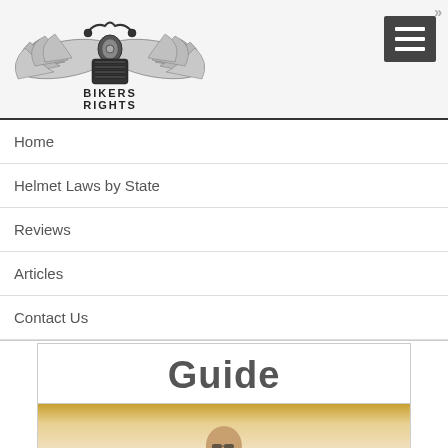[Figure (logo): Bikers Rights logo: motorcycle with wings and text BIKERS RIGHTS]
[Figure (other): Hamburger menu button (three horizontal white lines on dark gray background)]
Home
Helmet Laws by State
Reviews
Articles
Contact Us
Guide
[Figure (photo): Photo of a man wearing sunglasses, partial view, warm golden tones]